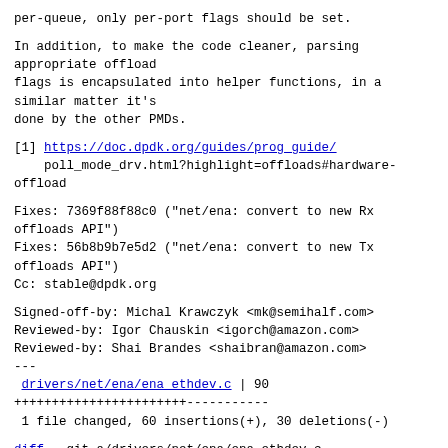per-queue, only per-port flags should be set.
In addition, to make the code cleaner, parsing appropriate offload
flags is encapsulated into helper functions, in a similar matter it's
done by the other PMDs.
[1] https://doc.dpdk.org/guides/prog_guide/
    poll_mode_drv.html?highlight=offloads#hardware-offload
Fixes: 7369f88f88c0 ("net/ena: convert to new Rx offloads API")
Fixes: 56b8b9b7e5d2 ("net/ena: convert to new Tx offloads API")
Cc: stable@dpdk.org
Signed-off-by: Michal Krawczyk <mk@semihalf.com>
Reviewed-by: Igor Chauskin <igorch@amazon.com>
Reviewed-by: Shai Brandes <shaibran@amazon.com>
---
 drivers/net/ena/ena_ethdev.c | 90
+++++++++++++++++++++++-----------
 1 file changed, 60 insertions(+), 30 deletions(-)
diff --git a/drivers/net/ena/ena_ethdev.c b/drivers/net/ena/ena_ethdev.c
index 7e9caca290..94e3cc3765 100644
--- a/drivers/net/ena/ena_ethdev.c